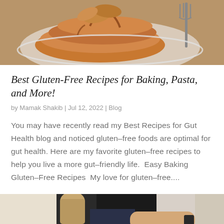[Figure (photo): Top portion of a food photo showing pancakes with syrup on a white plate with a fork visible on the right side]
Best Gluten-Free Recipes for Baking, Pasta, and More!
by Mamak Shakib | Jul 12, 2022 | Blog
You may have recently read my Best Recipes for Gut Health blog and noticed gluten-free foods are optimal for gut health. Here are my favorite gluten-free recipes to help you live a more gut-friendly life.  Easy Baking Gluten-Free Recipes  My love for gluten-free....
[Figure (photo): Partial photo showing a person (partially cropped) in a kitchen or exercise setting]